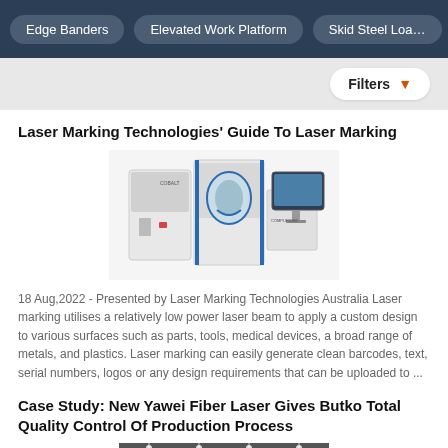Edge Banders | Elevated Work Platform | Skid Steel Loa…
Filters
Laser Marking Technologies' Guide To Laser Marking
[Figure (photo): Photo of laser marking machine equipment — industrial white and blue cabinet machines with a computer monitor]
18 Aug,2022 - Presented by Laser Marking Technologies Australia Laser marking utilises a relatively low power laser beam to apply a custom design to various surfaces such as parts, tools, medical devices, a broad range of metals, and plastics. Laser marking can easily generate clean barcodes, text, serial numbers, logos or any design requirements that can be uploaded to ...
Case Study: New Yawei Fiber Laser Gives Butko Total Quality Control Of Production Process
[Figure (photo): Photo of industrial factory floor or production facility]